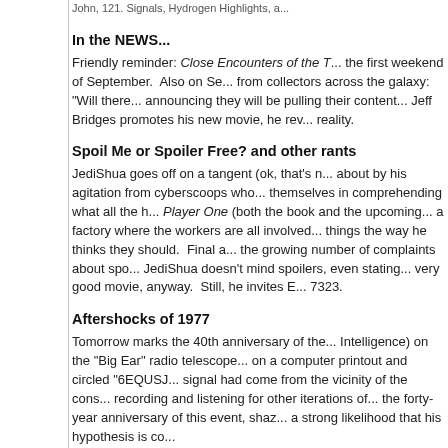John, 121. Signals, Hydrogen Highlights, a...
In the NEWS...
Friendly reminder: Close Encounters of the T... the first weekend of September. Also on Se... from collectors across the galaxy: "Will there... announcing they will be pulling their content... Jeff Bridges promotes his new movie, he rev... reality.
Spoil Me or Spoiler Free? and other rants
JediShua goes off on a tangent (ok, that's n... about by his agitation from cyberscoops who... themselves in comprehending what all the h... Player One (both the book and the upcoming... a factory where the workers are all involved... things the way he thinks they should. Final a... the growing number of complaints about spo... JediShua doesn't mind spoilers, even stating... very good movie, anyway. Still, he invites E... 7323.
Aftershocks of 1977
Tomorrow marks the 40th anniversary of the... Intelligence) on the "Big Ear" radio telescope... on a computer printout and circled "6EQUSJ... signal had come from the vicinity of the cons... recording and listening for other iterations of... the forty-year anniversary of this event, shaz... a strong likelihood that his hypothesis is co...